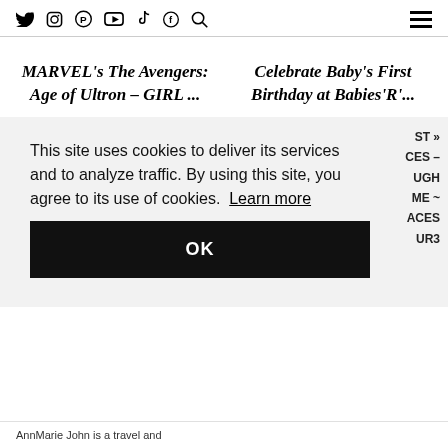Social media icons: Twitter, Instagram, Pinterest, YouTube, TikTok, Facebook, Search | Hamburger menu
MARVEL's The Avengers: Age of Ultron – GIRL ...
Celebrate Baby's First Birthday at Babies'R'...
This site uses cookies to deliver its services and to analyze traffic. By using this site, you agree to its use of cookies. Learn more
OK
ST »
CES –
UGH
ME ~
ACES
UR3
AnnMarie John is a travel and